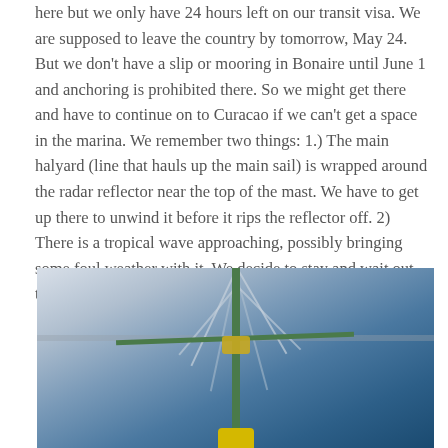here but we only have 24 hours left on our transit visa. We are supposed to leave the country by tomorrow, May 24. But we don't have a slip or mooring in Bonaire until June 1 and anchoring is prohibited there. So we might get there and have to continue on to Curacao if we can't get a space in the marina. We remember two things: 1.) The main halyard (line that hauls up the main sail) is wrapped around the radar reflector near the top of the mast. We have to get up there to unwind it before it rips the reflector off. 2) There is a tropical wave approaching, possibly bringing some foul weather with it. We decide to stay and wait out the weather and fix the halyard.
[Figure (photo): Photo of the top of a sailboat mast viewed from below, showing the mast, crossbar, rigging lines, radar reflector, against a blue sky background.]